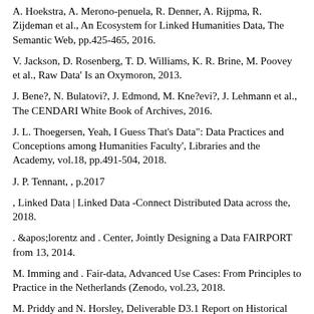A. Hoekstra, A. Merono-penuela, R. Denner, A. Rijpma, R. Zijdeman et al., An Ecosystem for Linked Humanities Data, The Semantic Web, pp.425-465, 2016.
V. Jackson, D. Rosenberg, T. D. Williams, K. R. Brine, M. Poovey et al., Raw Data' Is an Oxymoron, 2013.
J. Bene?, N. Bulatovi?, J. Edmond, M. Kne?evi?, J. Lehmann et al., The CENDARI White Book of Archives, 2016.
J. L. Thoegersen, Yeah, I Guess That's Data": Data Practices and Conceptions among Humanities Faculty', Libraries and the Academy, vol.18, pp.491-504, 2018.
J. P. Tennant, , p.2017
, Linked Data | Linked Data -Connect Distributed Data across the, 2018.
. &apos;lorentz and . Center, Jointly Designing a Data FAIRPORT from 13, 2014.
M. Imming and . Fair-data, Advanced Use Cases: From Principles to Practice in the Netherlands (Zenodo, vol.23, 2018.
M. Priddy and N. Horsley, Deliverable D3.1 Report on Historical Data as Sources, 2018.